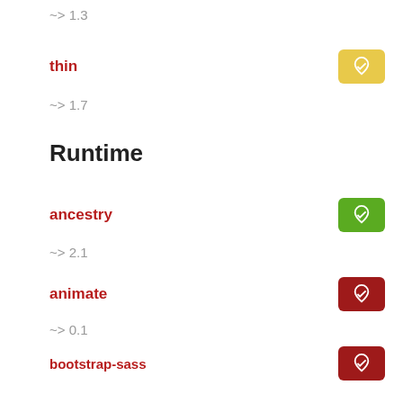~> 1.3
thin
~> 1.7
Runtime
ancestry
~> 2.1
animate
~> 0.1
bootstrap-sass
~> 3.3
codemirror-rails
~> 5.11